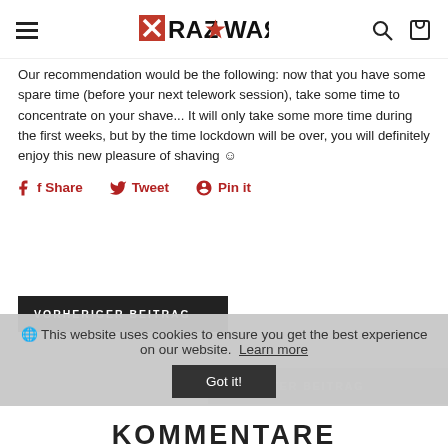RAZWAR logo, hamburger menu, search and cart icons
Our recommendation would be the following: now that you have some spare time (before your next telework session), take some time to concentrate on your shave... It will only take some more time during the first weeks, but by the time lockdown will be over, you will definitely enjoy this new pleasure of shaving ☺
Share
Tweet
Pin it
VORHERIGER BEITRAG
🌐 This website uses cookies to ensure you get the best experience on our website. Learn more
Got it!
NÄCHSTER BEITRAG
KOMMENTARE